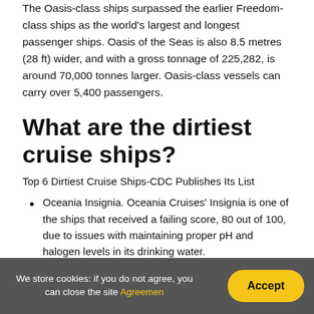The Oasis-class ships surpassed the earlier Freedom-class ships as the world's largest and longest passenger ships. Oasis of the Seas is also 8.5 metres (28 ft) wider, and with a gross tonnage of 225,282, is around 70,000 tonnes larger. Oasis-class vessels can carry over 5,400 passengers.
What are the dirtiest cruise ships?
Top 6 Dirtiest Cruise Ships-CDC Publishes Its List
Oceania Insignia. Oceania Cruises' Insignia is one of the ships that received a failing score, 80 out of 100, due to issues with maintaining proper pH and halogen levels in its drinking water.
We store cookies: if you do not agree, you can close the site Agreemen